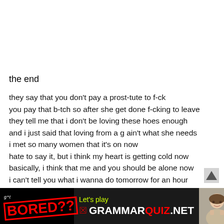the end
they say that you don't pay a prost-tute to f-ck
you pay that b-tch so after she get done f-cking to leave
they tell me that i don't be loving these hoes enough
and i just said that loving from a g ain't what she needs
i met so many women that it's on now
hate to say it, but i think my heart is getting cold now
basically, i think that me and you should be alone now
i can't tell you what i wanna do tomorrow for an hour
we're together i ain't confucius so don't be asking 'bout the
[Figure (screenshot): Advertisement banner for GrammarQuiz.net with BORED?? text and a photo of a young woman]
[Figure (other): Up/scroll arrow button on right side]